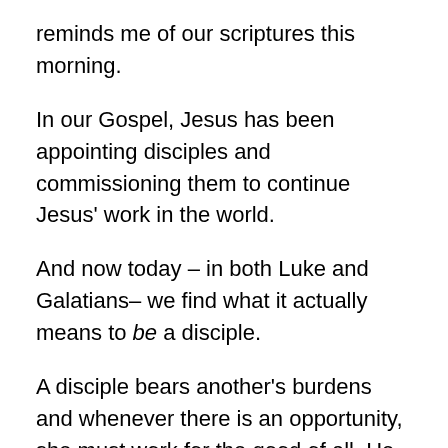reminds me of our scriptures this morning.
In our Gospel, Jesus has been appointing disciples and commissioning them to continue Jesus' work in the world.
And now today – in both Luke and Galatians– we find what it actually means to be a disciple.
A disciple bears another's burdens and whenever there is an opportunity, she must work for the good of all. He must make personal sacrifices and let go of the things that get in the way of following Jesus. They bring healing to those who are suffering and proclaim the peace that Jesus offers the world.
This past week, our youth learned more about how to be disciples of Jesus and they lived this out as they cared for one another when things were difficult, as they stood up